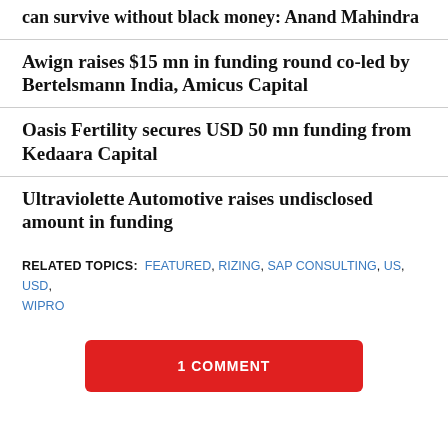can survive without black money: Anand Mahindra
Awign raises $15 mn in funding round co-led by Bertelsmann India, Amicus Capital
Oasis Fertility secures USD 50 mn funding from Kedaara Capital
Ultraviolette Automotive raises undisclosed amount in funding
RELATED TOPICS: FEATURED, RIZING, SAP CONSULTING, US, USD, WIPRO
1 COMMENT